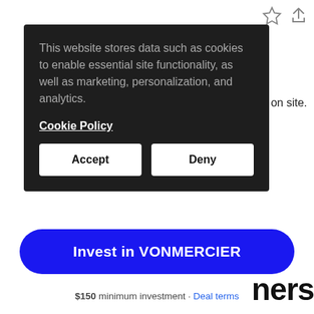[Figure (screenshot): Cookie consent overlay with dark background, showing a message about cookies for site functionality, marketing, personalization, and analytics. Includes a Cookie Policy link and Accept/Deny buttons.]
on site.
ners
Individuals
Invest in VONMERCIER
$150 minimum investment · Deal terms